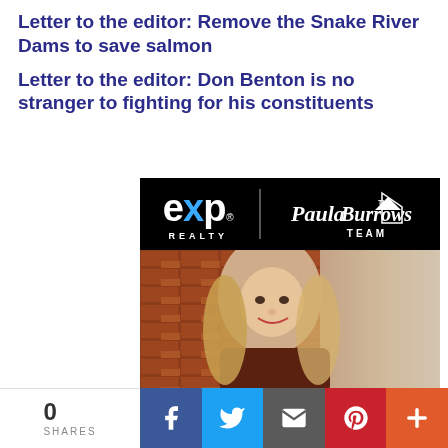Letter to the editor: Remove the Snake River Dams to save salmon
Letter to the editor: Don Benton is no stranger to fighting for his constituents
[Figure (advertisement): eXp Realty - The Paula Burrows Team advertisement with logo on black background and photo of a smiling blonde woman in a brown shirt leaning against a brick wall]
0 SHARES
[Figure (infographic): Social share bar with Facebook, Twitter, Email, Pinterest, and More (+) buttons]